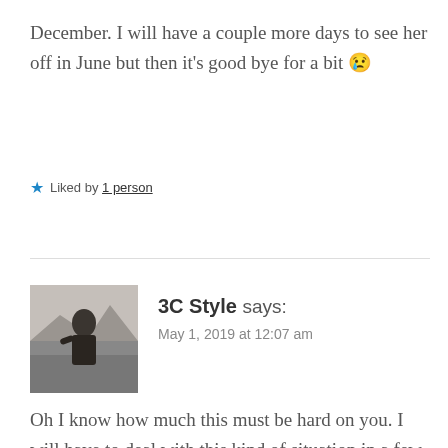December. I will have a couple more days to see her off in June but then it's good bye for a bit 😢
★ Liked by 1 person
3C Style says: May 1, 2019 at 12:07 am
Oh I know how much this must be hard on you. I will have to deal with this kind of situation in a few years and just thinking